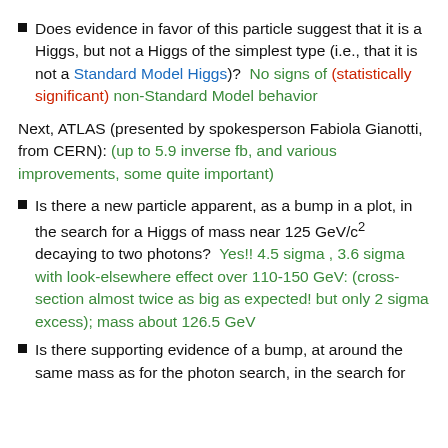Does evidence in favor of this particle suggest that it is a Higgs, but not a Higgs of the simplest type (i.e., that it is not a Standard Model Higgs)?  No signs of (statistically significant) non-Standard Model behavior
Next, ATLAS (presented by spokesperson Fabiola Gianotti, from CERN): (up to 5.9 inverse fb, and various improvements, some quite important)
Is there a new particle apparent, as a bump in a plot, in the search for a Higgs of mass near 125 GeV/c2 decaying to two photons?  Yes!! 4.5 sigma , 3.6 sigma with look-elsewhere effect over 110-150 GeV: (cross-section almost twice as big as expected! but only 2 sigma excess); mass about 126.5 GeV
Is there supporting evidence of a bump, at around the same mass as for the photon search, in the search for